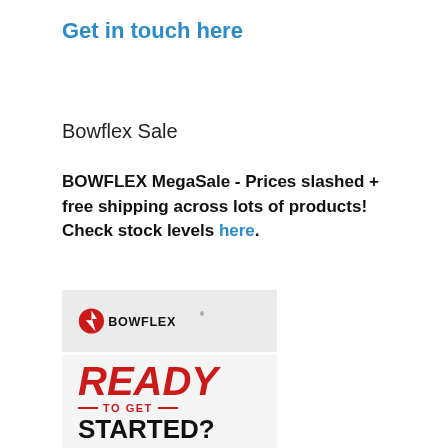Get in touch here
Bowflex Sale
BOWFLEX MegaSale - Prices slashed + free shipping across lots of products! Check stock levels here.
[Figure (logo): Bowflex logo on light grey background with red lightning bolt emblem and bold BOWFLEX text]
[Figure (infographic): Bowflex advertisement with red bold italic READY text, red dashes with TO GET text, and black bold STARTED? text on light grey background]